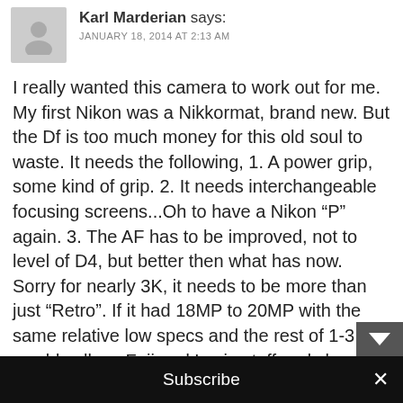Karl Marderian says: JANUARY 18, 2014 AT 2:13 AM
I really wanted this camera to work out for me. My first Nikon was a Nikkormat, brand new. But the Df is too much money for this old soul to waste. It needs the following, 1. A power grip, some kind of grip. 2. It needs interchangeable focusing screens...Oh to have a Nikon “P” again. 3. The AF has to be improved, not to level of D4, but better then what has now. Sorry for nearly 3K, it needs to be more than just “Retro”. If it had 18MP to 20MP with the same relative low specs and the rest of 1-3. I would sell my Fuji and Lecia stuff and shoot with it and film Nikon camera.
I will wait for the Dfs or the Df2.Or just keep what I
Subscribe ×